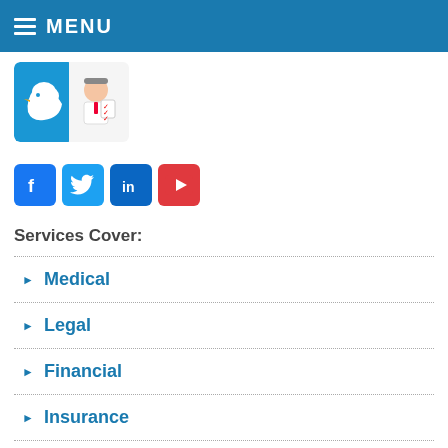MENU
[Figure (illustration): Twitter banner showing a Twitter bird logo on blue background alongside a cartoon doctor/expert with a checklist]
[Figure (illustration): Row of four social media icons: Facebook (blue f), Twitter (blue bird), LinkedIn (blue in), YouTube (red play button)]
Services Cover:
Medical
Legal
Financial
Insurance
Functional Support